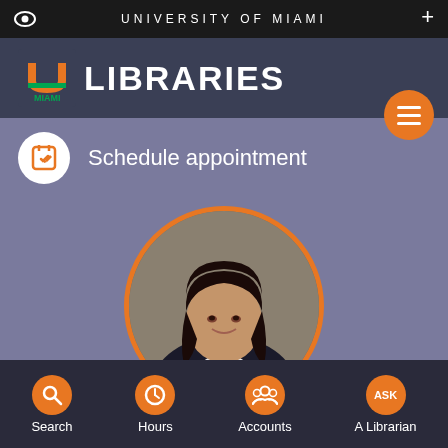UNIVERSITY OF MIAMI
[Figure (logo): University of Miami Libraries logo with U and M mark in orange and green, text LIBRARIES in white]
Schedule appointment
[Figure (photo): Professional headshot of a woman with dark hair wearing a dark blazer, displayed in a circular frame with orange border]
"I provide data services to the faculty, researchers, and
Search  Hours  Accounts  A Librarian